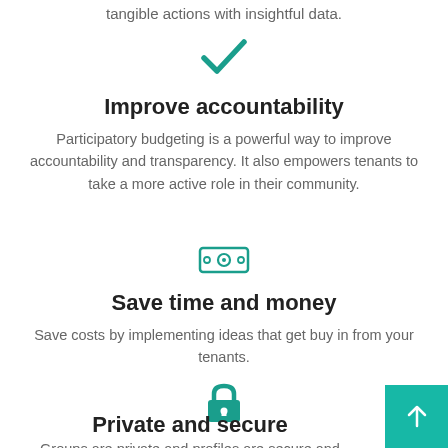tangible actions with insightful data.
[Figure (illustration): Teal checkmark icon]
Improve accountability
Participatory budgeting is a powerful way to improve accountability and transparency. It also empowers tenants to take a more active role in their community.
[Figure (illustration): Teal money/cash icon]
Save time and money
Save costs by implementing ideas that get buy in from your tenants.
[Figure (illustration): Teal padlock icon]
Private and secure
Groups are private and profiles are secure and